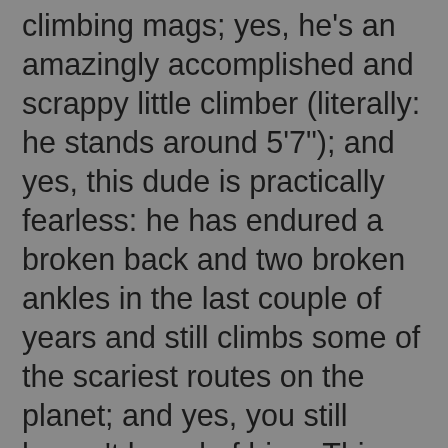climbing mags; yes, he's an amazingly accomplished and scrappy little climber (literally: he stands around 5'7"); and yes, this dude is practically fearless: he has endured a broken back and two broken ankles in the last couple of years and still climbs some of the scariest routes on the planet; and yes, you still haven't heard of him.  This shows the impact of corporate backing, or the lack thereof.  In an article Wright penned in 2016 called, “The Wright Stuff: An Ode to the Dark Horse”, he half-jokingly remarks that Gobright “likes long solos (sometimes on the beach), big walls, crimpers, and cutting-edge trad climbs, and